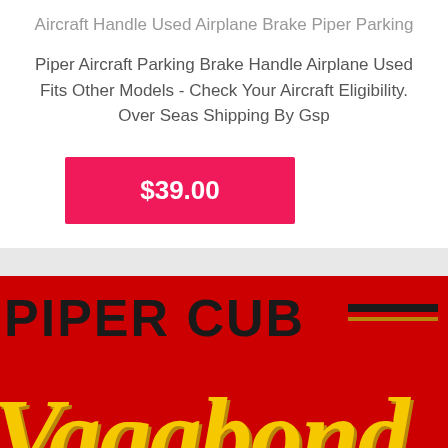Aircraft Handle Used Airplane Brake Piper Parking
Piper Aircraft Parking Brake Handle Airplane Used Fits Other Models - Check Your Aircraft Eligibility. Over Seas Shipping By Gsp
$39.00
[Figure (logo): Piper Cub Vagabond logo on red background — bold dark text reading PIPER CUB with horizontal double lines, and large yellow italic script text reading Vagabond]